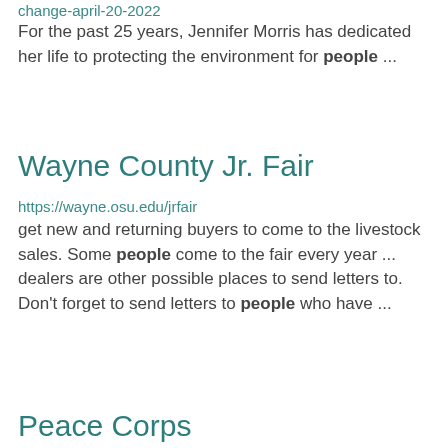change-april-20-2022
For the past 25 years, Jennifer Morris has dedicated her life to protecting the environment for people ...
Wayne County Jr. Fair
https://wayne.osu.edu/jrfair
get new and returning buyers to come to the livestock sales. Some people come to the fair every year ... dealers are other possible places to send letters to. Don't forget to send letters to people who have ...
Peace Corps